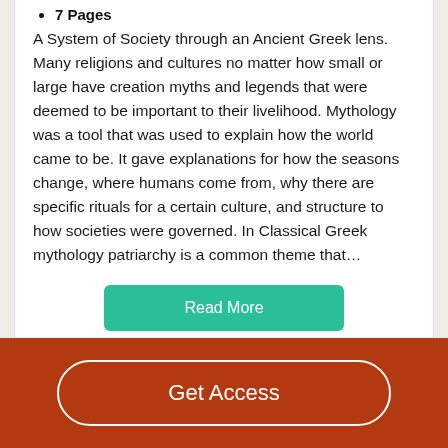7 Pages
A System of Society through an Ancient Greek lens. Many religions and cultures no matter how small or large have creation myths and legends that were deemed to be important to their livelihood. Mythology was a tool that was used to explain how the world came to be. It gave explanations for how the seasons change, where humans come from, why there are specific rituals for a certain culture, and structure to how societies were governed. In Classical Greek mythology patriarchy is a common theme that…
Read More
Decent Essays
Get Access